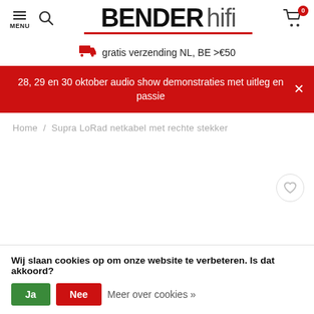BENDER hifi
gratis verzending NL, BE >€50
28, 29 en 30 oktober audio show demonstraties met uitleg en passie
Home / Supra LoRad netkabel met rechte stekker
Wij slaan cookies op om onze website te verbeteren. Is dat akkoord?
Ja  Nee  Meer over cookies »